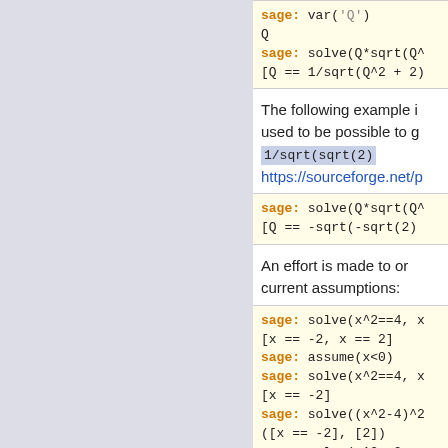sage: var('Q')
Q
sage: solve(Q*sqrt(Q^
[Q == 1/sqrt(Q^2 + 2)
The following example i used to be possible to g
1/sqrt(sqrt(2)
https://sourceforge.net/p
sage: solve(Q*sqrt(Q^
[Q == -sqrt(-sqrt(2)
An effort is made to or current assumptions:
sage: solve(x^2==4, x
[x == -2, x == 2]
sage: assume(x<0)
sage: solve(x^2==4, x
[x == -2]
sage: solve((x^2-4)^2
([x == -2], [2])
sage: solve(x^2==2, x
[x == -sqrt(2)]